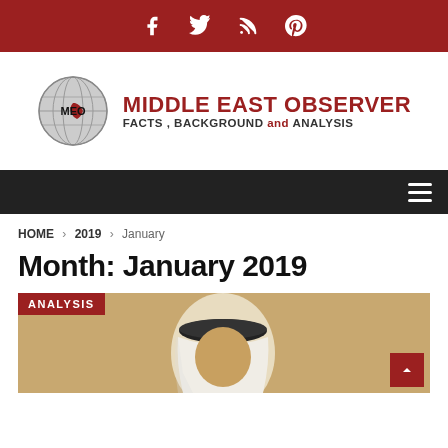Social icons bar: Facebook, Twitter, RSS, Pinterest
[Figure (logo): Middle East Observer logo: globe icon with MEO text and red Middle East region, with brand name MIDDLE EAST OBSERVER and tagline FACTS, BACKGROUND and ANALYSIS]
Navigation bar with hamburger menu icon
HOME > 2019 > January
Month: January 2019
[Figure (photo): Article card with ANALYSIS badge. Photo of a person wearing traditional Arab headdress (keffiyeh and agal). Red scroll-to-top button in bottom right corner.]